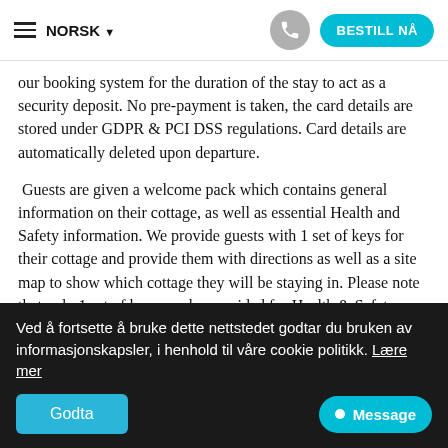≡  NORSK ▾                      [phone]  BESTILL NÅ
our booking system for the duration of the stay to act as a security deposit. No pre-payment is taken, the card details are stored under GDPR & PCI DSS regulations. Card details are automatically deleted upon departure.
Guests are given a welcome pack which contains general information on their cottage, as well as essential Health and Safety information. We provide guests with 1 set of keys for their cottage and provide them with directions as well as a site map to show which cottage they will be staying in. Please note that only 1 set of keys can be provided for Health & Safety purposes per property.
Ved å fortsette å bruke dette nettstedet godtar du bruken av informasjonskapsler, i henhold til våre cookie politikk. Lære mer
Godta
● Message